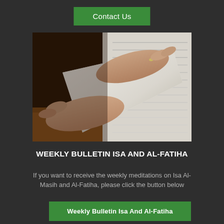Contact Us
[Figure (photo): Close-up of hands turning/leafing through pages of a book or document on a wooden surface]
WEEKLY BULLETIN ISA AND AL-FATIHA
If you want to receive the weekly meditations on Isa Al-Masih and Al-Fatiha, please click the button below
Weekly Bulletin Isa And Al-Fatiha